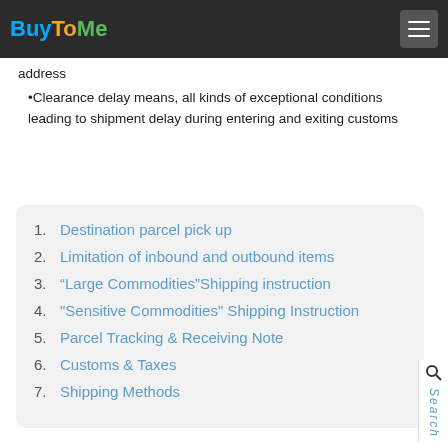BuyToMe
address
Clearance delay means, all kinds of exceptional conditions leading to shipment delay during entering and exiting customs
1. Destination parcel pick up
2. Limitation of inbound and outbound items
3. “Large Commodities”Shipping instruction
4. "Sensitive Commodities" Shipping Instruction
5. Parcel Tracking & Receiving Note
6. Customs & Taxes
7. Shipping Methods